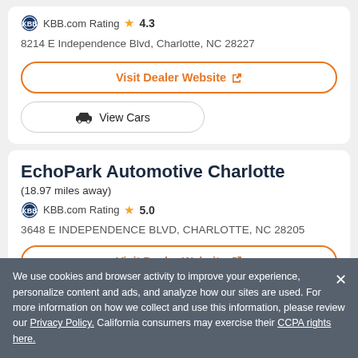KBB.com Rating ★ 4.3
8214 E Independence Blvd, Charlotte, NC 28227
Visit Dealer Website ↗
🚗 View Cars
EchoPark Automotive Charlotte
(18.97 miles away)
KBB.com Rating ★ 5.0
3648 E INDEPENDENCE BLVD, CHARLOTTE, NC 28205
Visit Dealer Website ↗
We use cookies and browser activity to improve your experience, personalize content and ads, and analyze how our sites are used. For more information on how we collect and use this information, please review our Privacy Policy. California consumers may exercise their CCPA rights here.